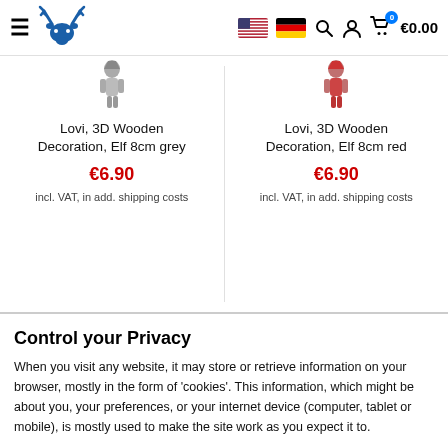Navigation header with hamburger menu, moose logo, US/DE flags, search, account, cart (€0.00)
Lovi, 3D Wooden Decoration, Elf 8cm grey
€6.90
incl. VAT, in add. shipping costs
Lovi, 3D Wooden Decoration, Elf 8cm red
€6.90
incl. VAT, in add. shipping costs
Control your Privacy
When you visit any website, it may store or retrieve information on your browser, mostly in the form of 'cookies'. This information, which might be about you, your preferences, or your internet device (computer, tablet or mobile), is mostly used to make the site work as you expect it to.
More info  Accept all  Reject all